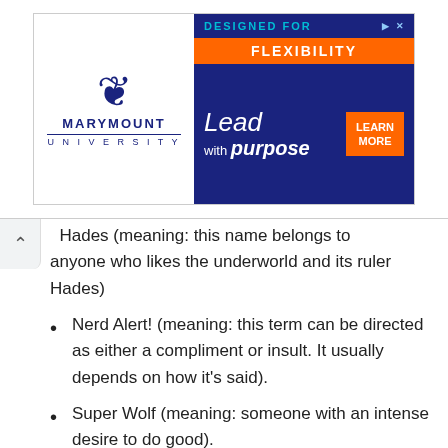[Figure (other): Marymount University advertisement banner: left side shows fleur-de-lis logo with MARYMOUNT UNIVERSITY text; right side has dark blue background with 'DESIGNED FOR' in cyan, 'FLEXIBILITY' in orange bar, 'Lead with purpose' text, and 'LEARN MORE' button]
Hades (meaning: this name belongs to anyone who likes the underworld and its ruler Hades)
Nerd Alert! (meaning: this term can be directed as either a compliment or insult. It usually depends on how it's said).
Super Wolf (meaning: someone with an intense desire to do good).
Violent Voice (meaning: someone with an extremely commanding voice which doesn't allow for any argument)
Vitality Vixen (meaning: someone who is energetic, attractive, and seductive).
Oddball Outlaw (meaning: someone with